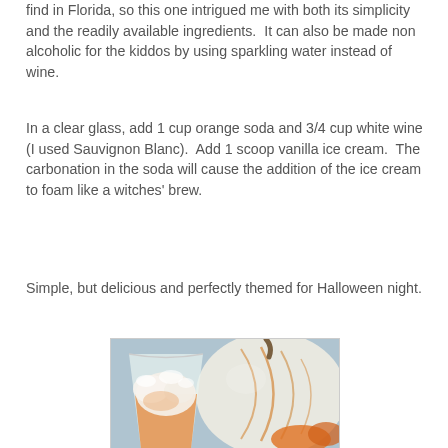find in Florida, so this one intrigued me with both its simplicity and the readily available ingredients.  It can also be made non alcoholic for the kiddos by using sparkling water instead of wine.
In a clear glass, add 1 cup orange soda and 3/4 cup white wine (I used Sauvignon Blanc).  Add 1 scoop vanilla ice cream.  The carbonation in the soda will cause the addition of the ice cream to foam like a witches' brew.
Simple, but delicious and perfectly themed for Halloween night.
[Figure (photo): A clear glass containing orange soda with vanilla ice cream floating and foaming, next to a white/ghost pumpkin with orange streaks on a surface.]